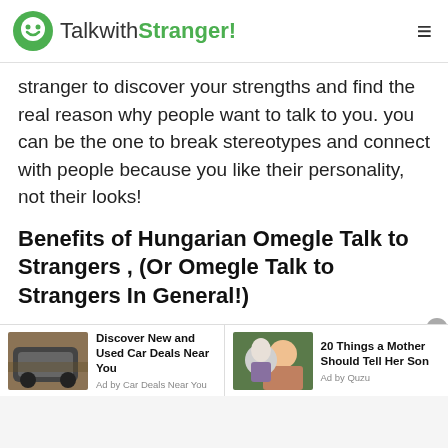TalkwithStranger!
stranger to discover your strengths and find the real reason why people want to talk to you. you can be the one to break stereotypes and connect with people because you like their personality, not their looks!
Benefits of Hungarian Omegle Talk to Strangers , (Or Omegle Talk to Strangers In General!)
In this digital age where just a push of a button or a swipe allows us to do almost anything, it is quite unsurprising that most of our social interactions have moved to digital
Discover New and Used Car Deals Near You
Ad by Car Deals Near You
20 Things a Mother Should Tell Her Son
Ad by Quzu